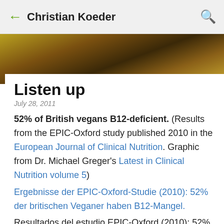← Christian Koeder 🔍
[Figure (photo): Blurred banner image with dark brown, gold and olive tones, likely a food-related background image]
Listen up
July 28, 2011
52% of British vegans B12-deficient. (Results from the EPIC-Oxford study published 2010 in the European Journal of Clinical Nutrition. Graphic from Dr. Michael Greger's Latest in Clinical Nutrition volume 5)
Ergebnisse der EPIC-Oxford-Studie (2010): 52% der britischen Veganer haben B12-Mangel.
Resultados del estudio EPIC-Oxford (2010): 52% de los veganos británicos tienen una deficiencia de la vitamina